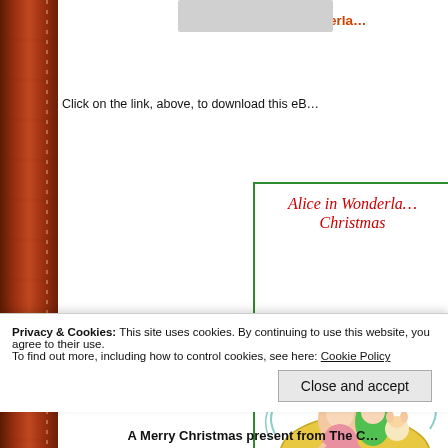Alice in Wonderla…
Click on the link, above, to download this eB…
[Figure (illustration): Book cover for 'Alice in Wonderland Christmas' showing cartoon characters in a sleigh with red cursive title text]
Privacy & Cookies: This site uses cookies. By continuing to use this website, you agree to their use. To find out more, including how to control cookies, see here: Cookie Policy
Close and accept
A Merry Christmas present from The C…